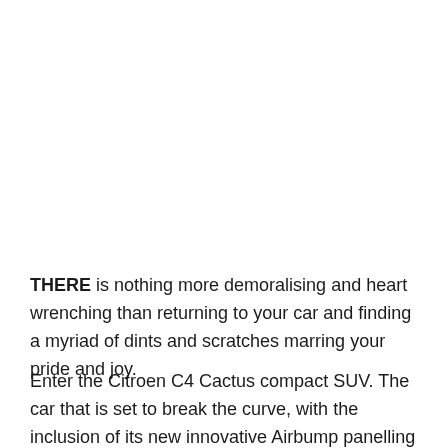THERE is nothing more demoralising and heart wrenching than returning to your car and finding a myriad of dints and scratches marring your pride and joy.
Enter the Citroen C4 Cactus compact SUV. The car that is set to break the curve, with the inclusion of its new innovative Airbump panelling to its SUV line. Now the C4